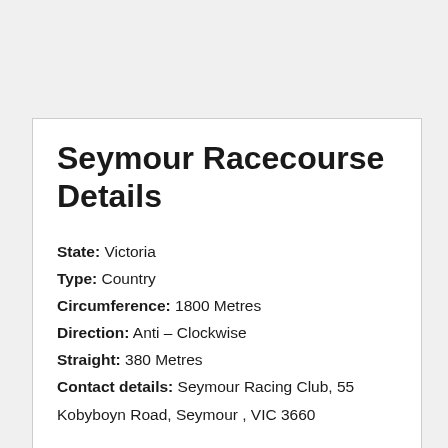Seymour Racecourse Details
State: Victoria
Type: Country
Circumference: 1800 Metres
Direction: Anti – Clockwise
Straight: 380 Metres
Contact details: Seymour Racing Club, 55 Kobyboyn Road, Seymour , VIC 3660